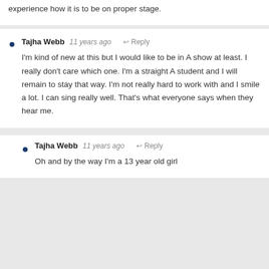experience how it is to be on proper stage.
Tajha Webb  11 years ago  Reply
I'm kind of new at this but I would like to be in A show at least. I really don't care which one. I'm a straight A student and I will remain to stay that way. I'm not really hard to work with and I smile a lot. I can sing really well. That's what everyone says when they hear me.
Tajha Webb  11 years ago  Reply
Oh and by the way I'm a 13 year old girl